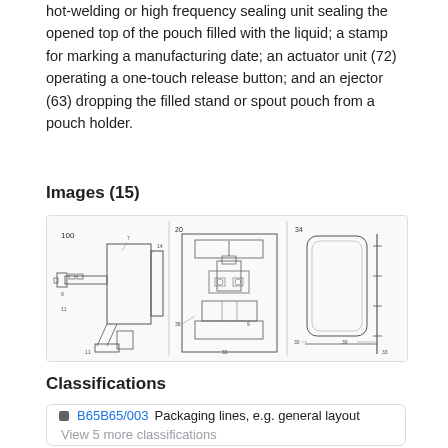hot-welding or high frequency sealing unit sealing the opened top of the pouch filled with the liquid; a stamp for marking a manufacturing date; an actuator unit (72) operating a one-touch release button; and an ejector (63) dropping the filled stand or spout pouch from a pouch holder.
Images (15)
[Figure (engineering-diagram): Three engineering patent diagrams side by side showing mechanical assembly components of a pouch filling machine. Left diagram shows side view labeled 100 with various numbered components. Middle diagram shows front view labeled 20 with detailed mechanical parts. Right diagram shows a vertical component labeled with numbers 34, 30, 39, 33.]
Classifications
B65B65/003  Packaging lines, e.g. general layout
View 5 more classifications